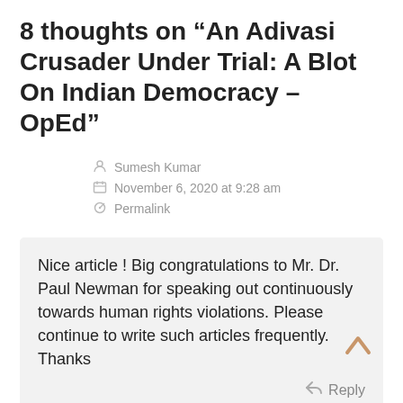8 thoughts on “An Adivasi Crusader Under Trial: A Blot On Indian Democracy – OpEd”
Sumesh Kumar
November 6, 2020 at 9:28 am
Permalink
Nice article ! Big congratulations to Mr. Dr. Paul Newman for speaking out continuously towards human rights violations. Please continue to write such articles frequently. Thanks
Reply
P. Arockia David Raja
November 6, 2020 at 10:05 am